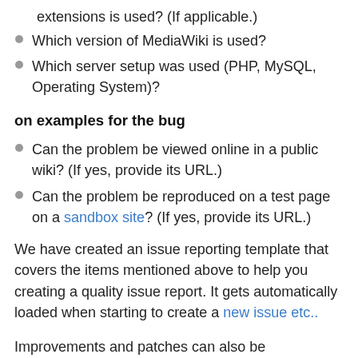extensions is used? (If applicable.)
Which version of MediaWiki is used?
Which server setup was used (PHP, MySQL, Operating System)?
on examples for the bug
Can the problem be viewed online in a public wiki? (If yes, provide its URL.)
Can the problem be reproduced on a test page on a sandbox site? (If yes, provide its URL.)
We have created an issue reporting template that covers the items mentioned above to help you creating a quality issue report. It gets automatically loaded when starting to create a new issue etc..
Improvements and patches can also be